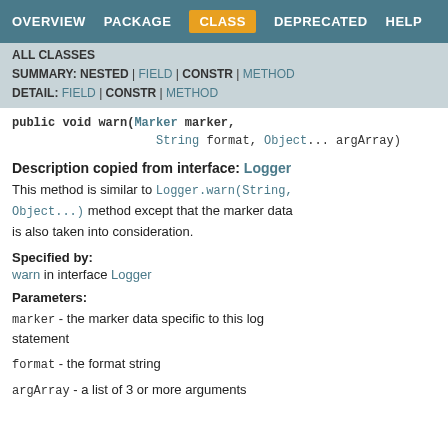OVERVIEW  PACKAGE  CLASS  DEPRECATED  HELP
ALL CLASSES
SUMMARY: NESTED | FIELD | CONSTR | METHOD
DETAIL: FIELD | CONSTR | METHOD
public void warn(Marker marker, String format, Object... argArray)
Description copied from interface: Logger
This method is similar to Logger.warn(String, Object...) method except that the marker data is also taken into consideration.
Specified by:
warn in interface Logger
Parameters:
marker - the marker data specific to this log statement
format - the format string
argArray - a list of 3 or more arguments